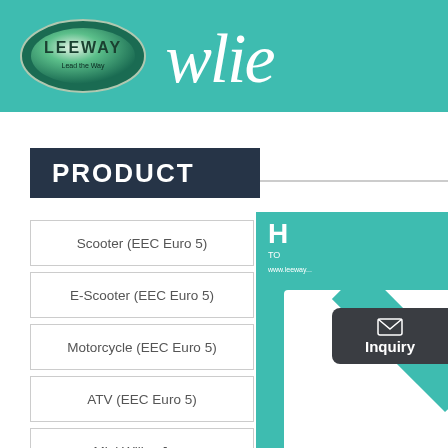[Figure (logo): Leeway brand logo with oval green/silver emblem and 'wlie' stylized text on teal header banner]
PRODUCT
Scooter (EEC Euro 5)
E-Scooter (EEC Euro 5)
Motorcycle (EEC Euro 5)
ATV (EEC Euro 5)
Mini Willys Jeep
[Figure (screenshot): Right side panel with teal background, white card overlay, NEW ribbon in orange text, and Inquiry button with envelope icon]